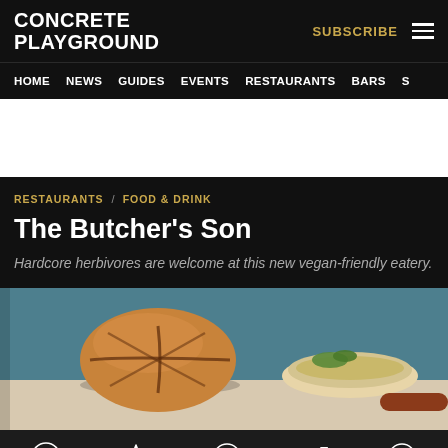CONCRETE PLAYGROUND
HOME  NEWS  GUIDES  EVENTS  RESTAURANTS  BARS  S
RESTAURANTS / FOOD & DRINK
The Butcher's Son
Hardcore herbivores are welcome at this new vegan-friendly eatery.
[Figure (photo): A vegan burger bun with decorative scoring on top, with a side dish of dip/sauce garnished with greens, on a light surface against a teal-blue background]
Home  Featured  Nearby  Popular  Latest